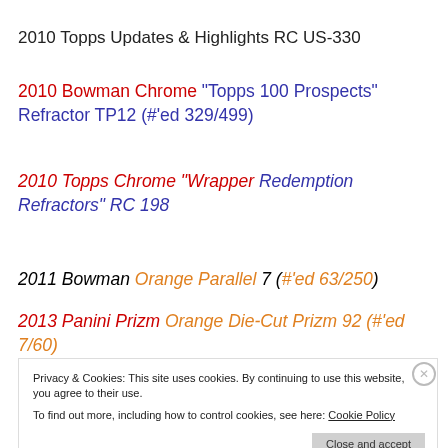2010 Topps Updates & Highlights RC US-330
2010 Bowman Chrome “Topps 100 Prospects” Refractor TP12 (#’ed 329/499)
2010 Topps Chrome “Wrapper Redemption Refractors” RC 198
2011 Bowman Orange Parallel 7 (#’ed 63/250)
2013 Panini Prizm Orange Die-Cut Prizm 92 (#’ed 7/60)
Privacy & Cookies: This site uses cookies. By continuing to use this website, you agree to their use. To find out more, including how to control cookies, see here: Cookie Policy